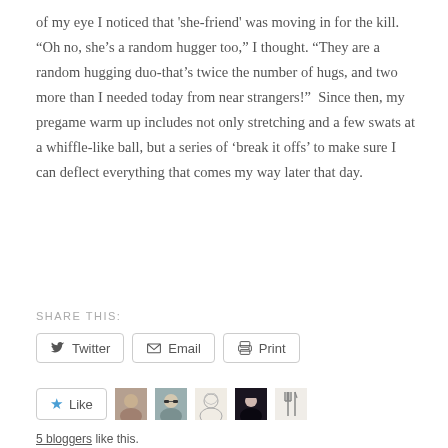of my eye I noticed that 'she-friend' was moving in for the kill. “Oh no, she’s a random hugger too,” I thought. “They are a random hugging duo-that’s twice the number of hugs, and two more than I needed today from near strangers!”  Since then, my pregame warm up includes not only stretching and a few swats at a whiffle-like ball, but a series of ‘break it offs’ to make sure I can deflect everything that comes my way later that day.
SHARE THIS:
[Figure (screenshot): Share buttons: Twitter, Email, Print; Like button with star icon; 5 blogger avatar thumbnails]
5 bloggers like this.